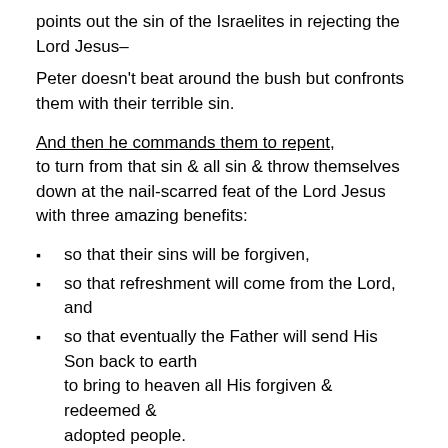points out the sin of the Israelites in rejecting the Lord Jesus–
Peter doesn't beat around the bush but confronts them with their terrible sin.
And then he commands them to repent, to turn from that sin & all sin & throw themselves down at the nail-scarred feat of the Lord Jesus with three amazing benefits:
so that their sins will be forgiven,
so that refreshment will come from the Lord, and
so that eventually the Father will send His Son back to earth to bring to heaven all His forgiven & redeemed & adopted people.
Peter again points them forward to that...